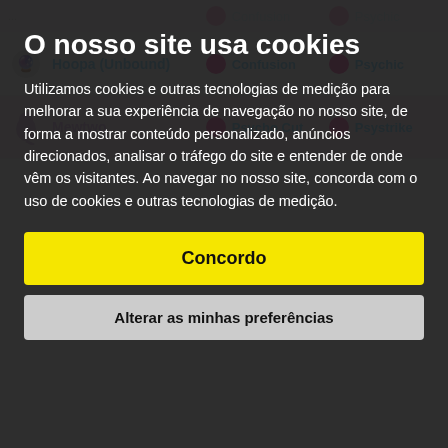| Pokemon | Fast Move | Charge Move |
| --- | --- | --- |
| Hoopa (Unbound) | Confusion | Psychic |
| Mewtwo | Psycho Cut | Psystrike |
| Darmanitan (Galarian Zen) | Ice Fang | Avalanche |
| Darmanitan (Galarian Zen) | Ice Fang | Overheat |
| Mewtwo | Confusion | Psychic |
| Mewtwo | Confusion | Psyshock |
| Alakazam Mega | Confusion | Psychic |
| Deoxys (Attack) | Zen Headbutt | Psycho Boost |
O nosso site usa cookies
Utilizamos cookies e outras tecnologias de medição para melhorar a sua experiência de navegação no nosso site, de forma a mostrar conteúdo personalizado, anúncios direcionados, analisar o tráfego do site e entender de onde vêm os visitantes. Ao navegar no nosso site, concorda com o uso de cookies e outras tecnologias de medição.
Concordo
Alterar as minhas preferências